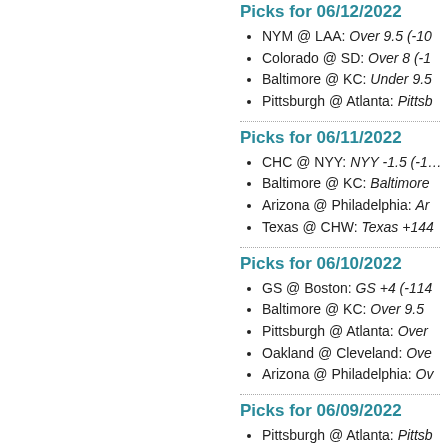Picks for 06/12/2022
NYM @ LAA: Over 9.5 (-10…
Colorado @ SD: Over 8 (-1…
Baltimore @ KC: Under 9.5…
Pittsburgh @ Atlanta: Pittsb…
Picks for 06/11/2022
CHC @ NYY: NYY -1.5 (-1…
Baltimore @ KC: Baltimore…
Arizona @ Philadelphia: Ar…
Texas @ CHW: Texas +144…
Picks for 06/10/2022
GS @ Boston: GS +4 (-114…
Baltimore @ KC: Over 9.5…
Pittsburgh @ Atlanta: Over…
Oakland @ Cleveland: Ove…
Arizona @ Philadelphia: Ov…
Picks for 06/09/2022
Pittsburgh @ Atlanta: Pittsb…
Philadelphia @ Milwaukee:…
Arizona @ Cincinnati: Cinc…
Picks for 06/08/2022
Colorado @ SF: Under 9 (-…
LA @ CHW: LA -1.5 (-105)…